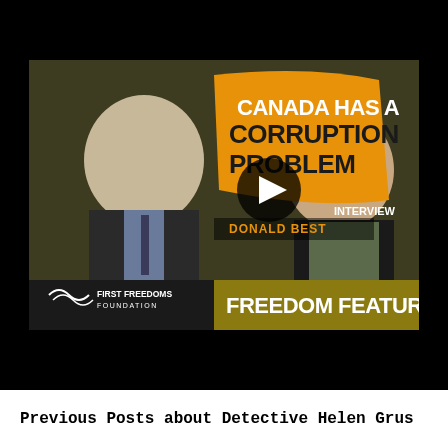[Figure (screenshot): Video thumbnail showing two men with text 'Canada Has A Corruption Problem', 'INTERVIEW', 'DONALD BEST', 'FIRST FREEDOMS FOUNDATION', 'FREEDOM FEATURE', with a play button overlay. Set against a black background (embedded video player).]
Previous Posts about Detective Helen Grus